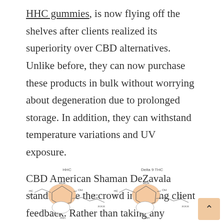HHC gummies, is now flying off the shelves after clients realized its superiority over CBD alternatives. Unlike before, they can now purchase these products in bulk without worrying about degeneration due to prolonged storage. In addition, they can withstand temperature variations and UV exposure.
CBD American Shaman DeZavala stands above the crowd in valuing client feedback. Rather than taking any negative feedback in a bad light, its employees use it as a way to continuously improve their products and services.
[Figure (illustration): Chemical structure diagrams of HHC and Delta 9 THC molecules side by side, with labels above each structure. The molecules are depicted with ring structures, showing atoms and bonds in a simplified molecular diagram style with a peach/orange highlight on the ring structures.]